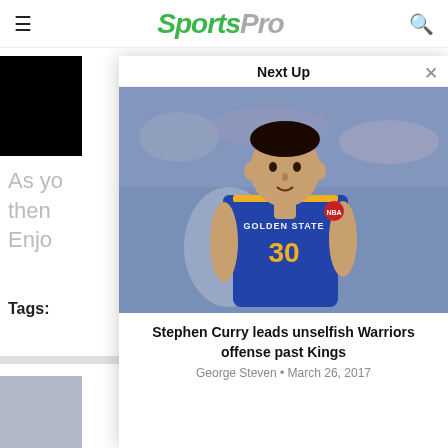SportsPro
As yo
then
Enjo
Tags:
[Figure (photo): Stephen Curry in Golden State Warriors jersey #30]
Stephen Curry leads unselfish Warriors offense past Kings
George Steven • March 26, 2017